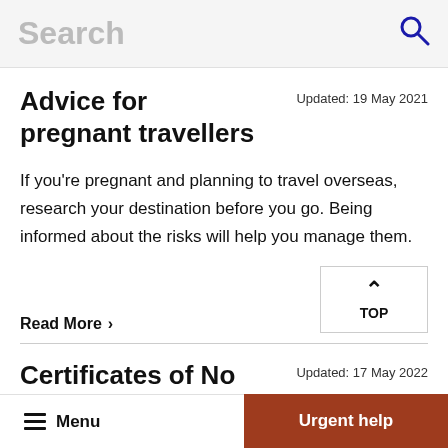Search
Advice for pregnant travellers
Updated: 19 May 2021
If you're pregnant and planning to travel overseas, research your destination before you go. Being informed about the risks will help you manage them.
Read More >
Certificates of No
Updated: 17 May 2022
Menu   Urgent help